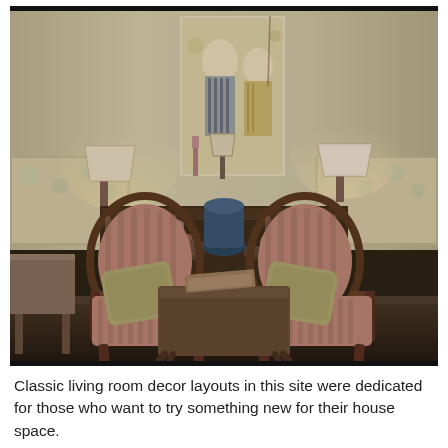[Figure (photo): Interior photo of a classic living room with two striped armchairs, a wooden coffee table with a book on it, a dark wooden sideboard with decorative items including a blue vase, bowls, candlesticks, and a plate, two table lamps, floral sofas/benches on either side, and a large Japanese ukiyo-e style artwork print on the wall. The room has dark wood floors and warm ambient lighting.]
Classic living room decor layouts in this site were dedicated for those who want to try something new for their house space.